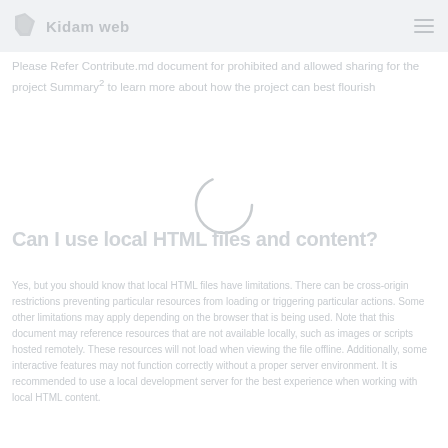Kidam web
Please Refer Contribute.md document for prohibited and allowed sharing for the project Summary to learn more about how the project can best flourish
[Figure (other): Loading spinner circle animation]
Can I use local HTML files and content?
Yes, but you should know that local HTML files have limitations. There can be cross-origin restrictions preventing particular resources from loading or triggering particular actions. Some other limitations may apply depending on the browser that is being used. Note that this document...